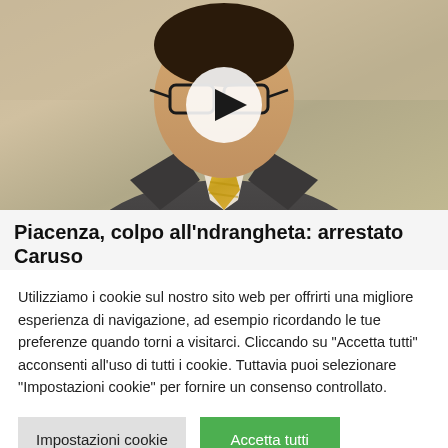[Figure (photo): Photo of a man in a dark suit with glasses and a yellow striped tie, shown from shoulders up, with a video play button overlay in the center]
Piacenza, colpo all'ndrangheta: arrestato Caruso
Utilizziamo i cookie sul nostro sito web per offrirti una migliore esperienza di navigazione, ad esempio ricordando le tue preferenze quando torni a visitarci. Cliccando su "Accetta tutti" acconsenti all'uso di tutti i cookie. Tuttavia puoi selezionare "Impostazioni cookie" per fornire un consenso controllato.
Impostazioni cookie | Accetta tutti